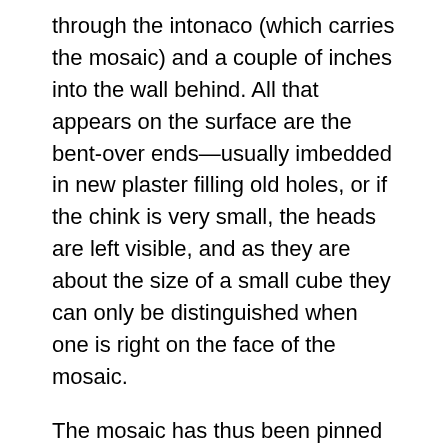through the intonaco (which carries the mosaic) and a couple of inches into the wall behind. All that appears on the surface are the bent-over ends—usually imbedded in new plaster filling old holes, or if the chink is very small, the heads are left visible, and as they are about the size of a small cube they can only be distinguished when one is right on the face of the mosaic.
The mosaic has thus been pinned securely onto its wall, and at the original level (which is necessarily disturbed when new cement is squirted in to bind the blistering intonaco to the wall, as at Ravenna). And this level, with its intentional irregularities, is a component part of the mosaic.
Then starts the endless business of cleaning off the coating of plaster, done as with the paint by